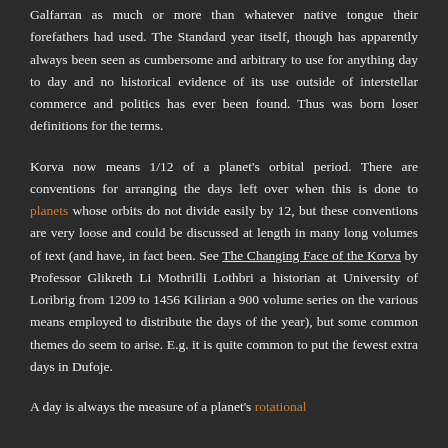Galfarran as much or more than whatever native tongue their forefathers had used. The Standard year itself, though has apparently always been seen as cumbersome and arbitrary to use for anything day to day and no historical evidence of its use outside of interstellar commerce and politics has ever been found. Thus was born loser definitions for the terms.
Korva now means 1/12 of a planet's orbital period. There are conventions for arranging the days left over when this is done to planets whose orbits do not divide easily by 12, but these conventions are very loose and could be discussed at length in many long volumes of text (and have, in fact been. See The Changing Face of the Korva by Professor Glikreth Li Mothrilli Lothbri a historian at University of Loribrig from 1209 to 1456 Kilirian a 900 volume series on the various means employed to distribute the days of the year), but some common themes do seem to arise. E.g. it is quite common to put the fewest extra days in Dufoje.
A day is always the measure of a planet's rotational